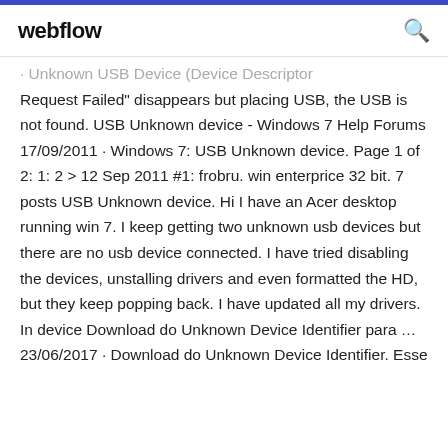webflow
Unknown USB Device (Device Descriptor Request Failed" disappears but placing USB, the USB is not found. USB Unknown device - Windows 7 Help Forums 17/09/2011 · Windows 7: USB Unknown device. Page 1 of 2: 1: 2 > 12 Sep 2011 #1: frobru. win enterprice 32 bit. 7 posts USB Unknown device. Hi I have an Acer desktop running win 7. I keep getting two unknown usb devices but there are no usb device connected. I have tried disabling the devices, unstalling drivers and even formatted the HD, but they keep popping back. I have updated all my drivers. In device Download do Unknown Device Identifier para … 23/06/2017 · Download do Unknown Device Identifier. Esse